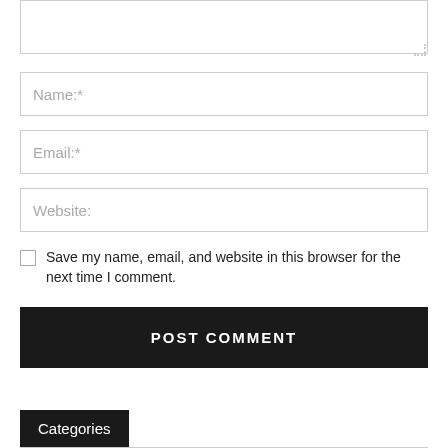[Figure (screenshot): Textarea input box with resize handle at bottom right]
[Figure (screenshot): Text input field with placeholder 'Name:*']
[Figure (screenshot): Text input field with placeholder 'Email:*']
[Figure (screenshot): Text input field with placeholder 'Website:']
Save my name, email, and website in this browser for the next time I comment.
POST COMMENT
Categories